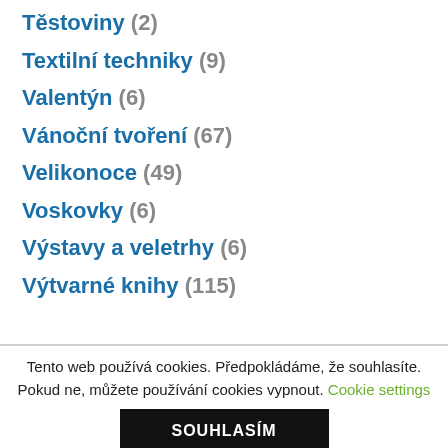Těstoviny (2)
Textilní techniky (9)
Valentýn (6)
Vánoční tvoření (67)
Velikonoce (49)
Voskovky (6)
Výstavy a veletrhy (6)
Výtvarné knihy (115)
Tento web používá cookies. Předpokládáme, že souhlasíte. Pokud ne, můžete používání cookies vypnout. Cookie settings
SOUHLASÍM